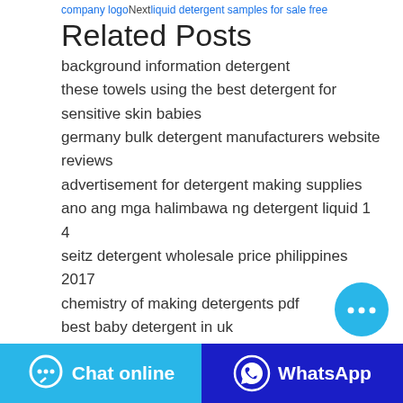company logoNextliquid detergent samples for sale free
Related Posts
background information detergent
these towels using the best detergent for sensitive skin babies
germany bulk detergent manufacturers website reviews
advertisement for detergent making supplies
ano ang mga halimbawa ng detergent liquid 1 4
seitz detergent wholesale price philippines 2017
chemistry of making detergents pdf
best baby detergent in uk
detergent cake manufacturing companies in california
top detergent introduction to the product development
Random Posts
liquid detergent production company in nepal today
price for detergent products near me
organic detergent price germany list
bravo detergent powder recall
[Figure (other): Floating chat bubble button (cyan circle with ellipsis icon)]
[Figure (other): Bottom bar with Chat online button (cyan) and WhatsApp button (dark blue)]